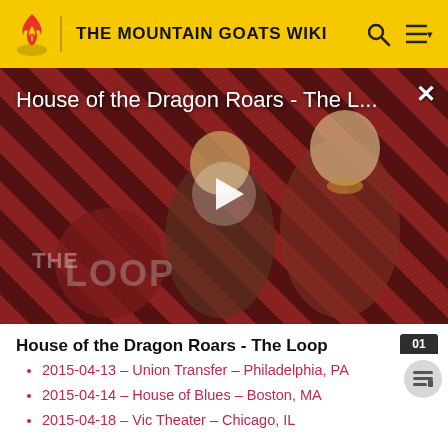THE MOUNTAIN GOATS WIKI
[Figure (screenshot): Video thumbnail showing two characters from House of the Dragon on a red diagonal stripe background with THE LOOP logo overlay and a play button in the center. Title overlay reads 'House of the Dragon Roars - The L...' with an X close button.]
House of the Dragon Roars - The Loop
2015-04-13 – Union Transfer – Philadelphia, PA
2015-04-14 – House of Blues – Boston, MA
2015-04-18 – Vic Theater – Chicago, IL